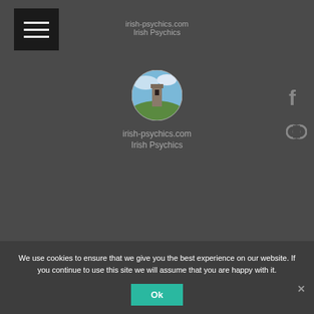irish-psychics.com
Irish Psychics
[Figure (illustration): Circular profile image showing a stone tower ruins against a blue sky with green hills]
irish-psychics.com
Irish Psychics
[Figure (other): Facebook icon (f) social media link]
[Figure (other): Chain/link icon for social sharing]
We use cookies to ensure that we give you the best experience on our website. If you continue to use this site we will assume that you are happy with it.